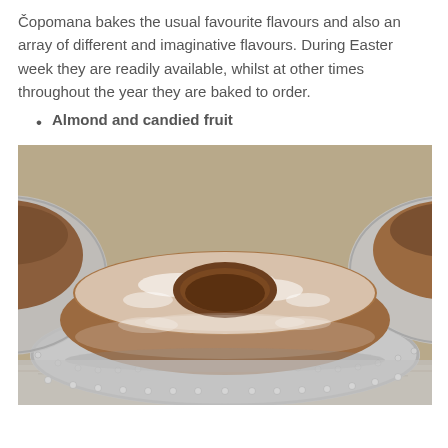Čopomana bakes the usual favourite flavours and also an array of different and imaginative flavours. During Easter week they are readily available, whilst at other times throughout the year they are baked to order.
Almond and candied fruit
[Figure (photo): A bundt cake dusted with powdered sugar, sitting on a silver beaded plate. Additional cakes on silver plates are visible in the background on a granite surface.]